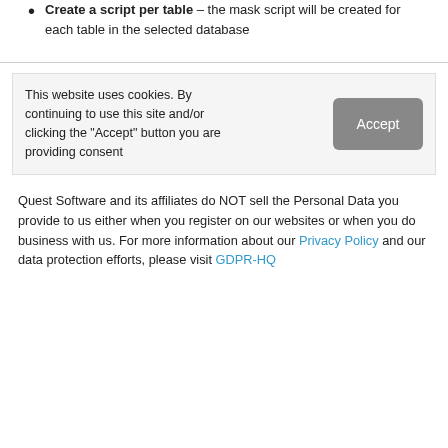Create a script per table – the mask script will be created for each table in the selected database
This website uses cookies. By continuing to use this site and/or clicking the "Accept" button you are providing consent
Quest Software and its affiliates do NOT sell the Personal Data you provide to us either when you register on our websites or when you do business with us. For more information about our Privacy Policy and our data protection efforts, please visit GDPR-HQ